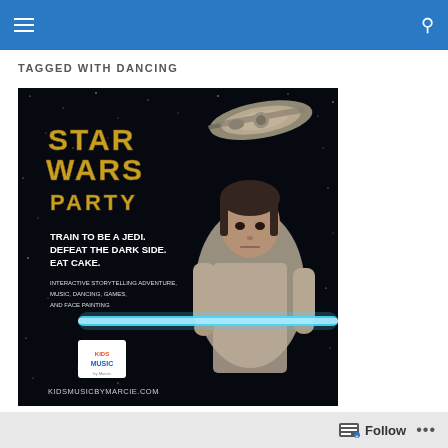Navigation bar with menu and search icons
TAGGED WITH DANCING
[Figure (photo): Star Wars Party promotional image showing a person dressed as a Jedi holding a lightsaber with text: STAR WARS PARTY — TRAIN TO BE A JEDI. DEFEAT THE DARK SIDE. EAT CAKE. — INTERACTIVE STORYTELLING ADVENTURE, MUSIC, DANCING, GAMES, AND FACE PAINTING — kidsmusicbymarcie.com]
New Party Theme: Star Wars!
Follow ...